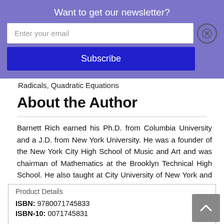Want to get our newsletter?
Radicals, Quadratic Equations
About the Author
Barnett Rich earned his Ph.D. from Columbia University and a J.D. from New York University. He was a founder of the New York City High School of Music and Art and was chairman of Mathematics at the Brooklyn Technical High School. He also taught at City University of New York and Columbia
Product Details
ISBN: 9780071745833
ISBN-10: 0071745831